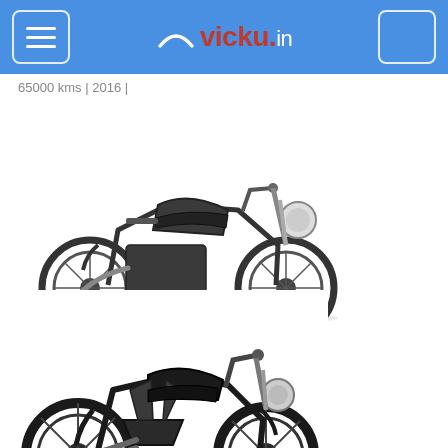vicky.in
65000 kms | 2016 |
[Figure (photo): Royal Enfield Himalayan motorcycle, dark grey/black color, adventure touring style, side view]
Royal Enfield Himalayan
₹ 1.50 Lac
60000 kms | 2018 |
[Figure (photo): Harley-Davidson Street 750 motorcycle, all-black color, cruiser style, side view]